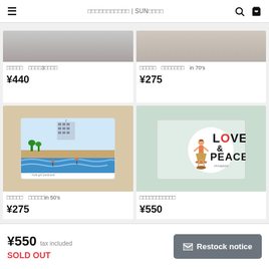☰  □□□□□□□□□□□ | SUN□□□□□  🔍  🛒
[Figure (photo): Product card top-left: cropped product image at top, product name in Japanese with 3 characters, price ¥440]
[Figure (photo): Product card top-right: cropped product image at top, product name in Japanese with 'in 70\'s', price ¥275]
[Figure (illustration): Postcard illustration showing beach scene with building, ocean waves and surfers, product name in Japanese 'in 50\'s', price ¥275]
[Figure (illustration): Postcard with hula girl and circular design reading LOVE & PEACE, product name in Japanese, price ¥550]
¥550  tax included
SOLD OUT
✉ Restock notice